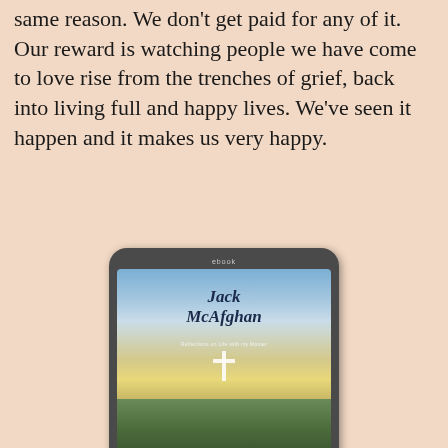same reason. We don't get paid for any of it. Our reward is watching people we have come to love rise from the trenches of grief, back into living full and happy lives. We've seen it happen and it makes us very happy.
[Figure (photo): An ebook reader/tablet displaying the book cover of 'Jack McAfghan: Reflections on Life with my Master' — an autobiography of a dog by Kate McGahan. The cover shows a scenic landscape with sky, clouds, a glowing cross, and green hills.]